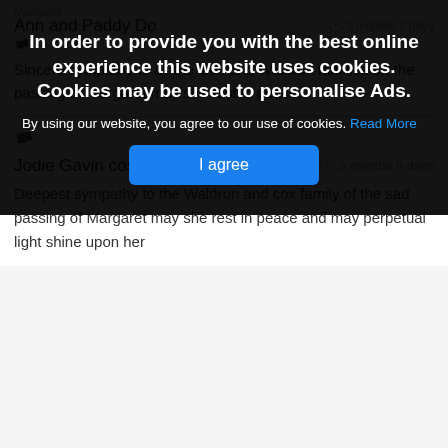[Figure (screenshot): Cookie consent banner overlay with dark background. Title: 'In order to provide you with the best online experience this website uses cookies. Cookies may be used to personalise Ads.' Body text: 'By using our website, you agree to our use of cookies. Read More' Button: 'I agree']
Sincere sympathy to all the Cox and Waldron families on the passing of Margaret may she rest in peace.
Jodie Gavin costello   3 months 8 days
Deepest sympathy to the Waldron and cox family of the sad passing of Margaret may she rest in peace and may perpetual light shine upon her